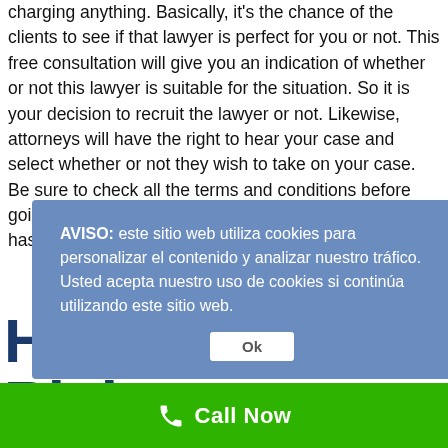charging anything. Basically, it's the chance of the clients to see if that lawyer is perfect for you or not. This free consultation will give you an indication of whether or not this lawyer is suitable for the situation. So it is your decision to recruit the lawyer or not. Likewise, attorneys will have the right to hear your case and select whether or not they wish to take on your case. Be sure to check all the terms and conditions before going in for the free consultation, so that there is no hassle later.
[Figure (screenshot): Cookie consent overlay in blue-grey with Spanish text: AVISO: este sitio web utiliza cookies para personalizar el contenido y analizar nuestro tráfico. Usted acepta nuestro uso de cookies si continúa utilizando este sitio web. With an Ok button.]
How to Find Right Attorney
Call Now